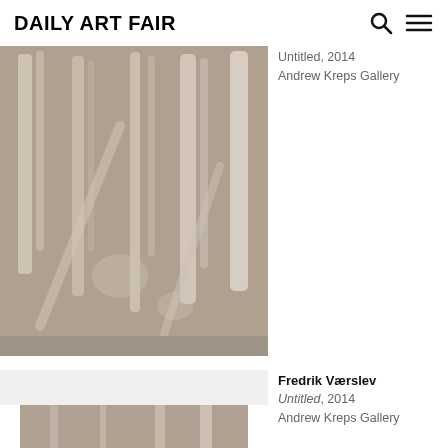Daily Art Fair
[Figure (photo): Abstract painting with taupe/brown background and vertical brushstroke marks in lighter tones, displayed on a white gallery wall]
Untitled, 2014
Andrew Kreps Gallery
[Figure (photo): Partial view of a second artwork with similar taupe tones, cropped at bottom of page]
Fredrik Værslev
Untitled, 2014
Andrew Kreps Gallery